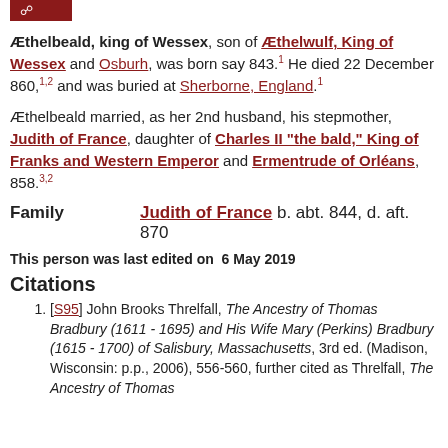[button/tab element]
Æthelbeald, king of Wessex, son of Æthelwulf, King of Wessex and Osburh, was born say 843.1 He died 22 December 860,1,2 and was buried at Sherborne, England.1
Æthelbeald married, as her 2nd husband, his stepmother, Judith of France, daughter of Charles II "the bald," King of Franks and Western Emperor and Ermentrude of Orléans, 858.3,2
Family   Judith of France b. abt. 844, d. aft. 870
This person was last edited on  6 May 2019
Citations
[S95] John Brooks Threlfall, The Ancestry of Thomas Bradbury (1611 - 1695) and His Wife Mary (Perkins) Bradbury (1615 - 1700) of Salisbury, Massachusetts, 3rd ed. (Madison, Wisconsin: p.p., 2006), 556-560, further cited as Threlfall, The Ancestry of Thomas...